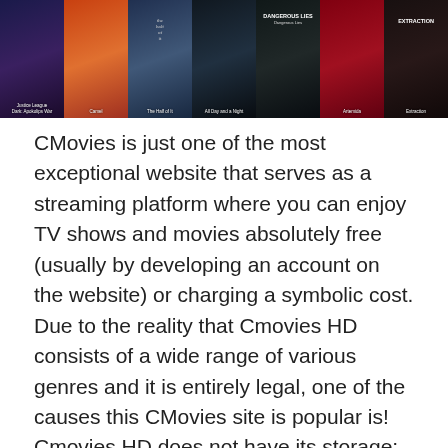[Figure (screenshot): A strip of movie poster thumbnails from the CMovies streaming website, showing approximately 7 movie posters including titles such as Justice League, Camel, The Half of It, All Day and a Night, Dangerous Lies, Artemida, and Extraction.]
CMovies is just one of the most exceptional website that serves as a streaming platform where you can enjoy TV shows and movies absolutely free (usually by developing an account on the website) or charging a symbolic cost. Due to the reality that Cmovies HD consists of a wide range of various genres and it is entirely legal, one of the causes this CMovies site is popular is! Cmovies HD does not have its storage; however, instead sends its users to third-party Streaming websites.
Though something might make you search for an Alternative Movie streaming website, whether it might be the user interface, choice of TV shows and movies, and